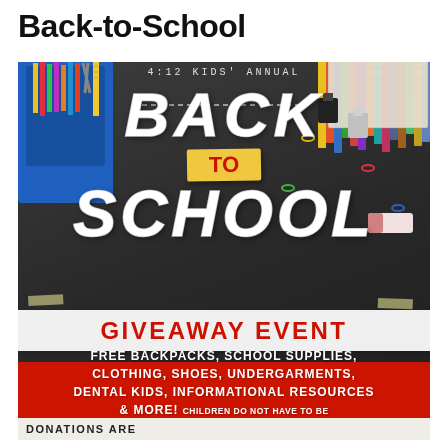Back-to-School
[Figure (illustration): Chalkboard-style Back-to-School Giveaway Event promotional image. Features chalk-style text reading '4:12 Kids Annual BACK TO SCHOOL GIVEAWAY EVENT' on a dark chalkboard background, with a blue backpack filled with school supplies on the left, colorful pencils and school supplies on the top right. White banner reads 'GIVEAWAY EVENT' in red. Red banner at bottom lists free items: Free Backpacks, School Supplies, Clothing, Shoes, Undergarments, Dental Kids, Informational Resources & More! Children do not have to be present to receive supplies. Partial 'DONATIONS ARE' text visible at bottom.]